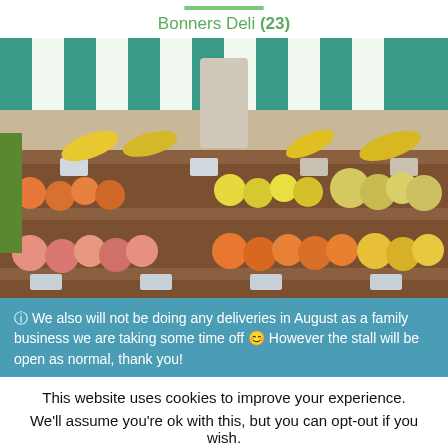Bonners Deli (23)
[Figure (photo): Photo of a fruit and vegetable market stall with green and white striped awning, displaying bananas, oranges, peaches, lemons, and other produce on tiered wooden shelves with price tags]
ⓘ We also will not be doing any deliveries in August as a family business we are taking some time off 😊 However the stall will be open as normal, thank you!
This website uses cookies to improve your experience.
We'll assume you're ok with this, but you can opt-out if you wish.
Cookie settings  ACCEPT